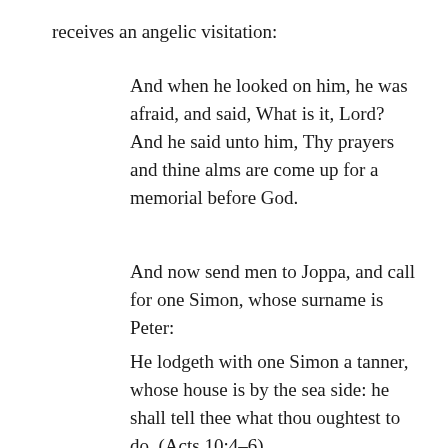receives an angelic visitation:
And when he looked on him, he was afraid, and said, What is it, Lord? And he said unto him, Thy prayers and thine alms are come up for a memorial before God.
And now send men to Joppa, and call for one Simon, whose surname is Peter:
He lodgeth with one Simon a tanner, whose house is by the sea side: he shall tell thee what thou oughtest to do. (Acts 10:4–6).